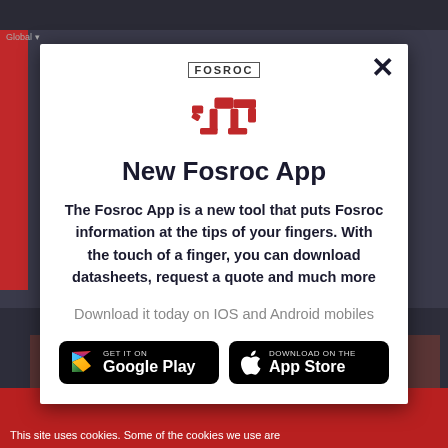[Figure (screenshot): Background website screenshot with dark navigation bar and blurred building image]
[Figure (logo): Fosroc logo with text FOSROC and red geometric icon representing a person]
New Fosroc App
The Fosroc App is a new tool that puts Fosroc information at the tips of your fingers. With the touch of a finger, you can download datasheets, request a quote and much more
Download it today on IOS and Android mobiles
[Figure (screenshot): GET IT ON Google Play button - black rounded rectangle with Google Play triangle icon and text]
[Figure (screenshot): Download on the App Store button - black rounded rectangle with Apple logo and text]
This site uses cookies. Some of the cookies we use are